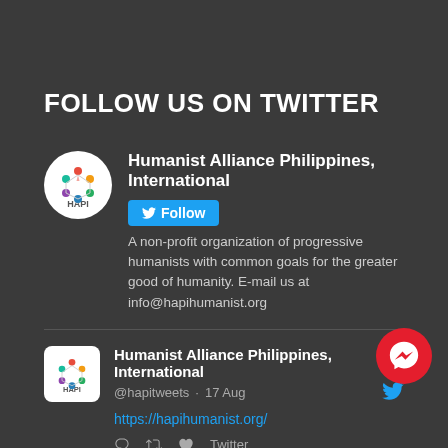FOLLOW US ON TWITTER
Humanist Alliance Philippines, International
A non-profit organization of progressive humanists with common goals for the greater good of humanity. E-mail us at info@hapihumanist.org
Humanist Alliance Philippines, International
@hapitweets · 17 Aug
https://hapihumanist.org/
Twitter
Humanist Alliance Philippines, International